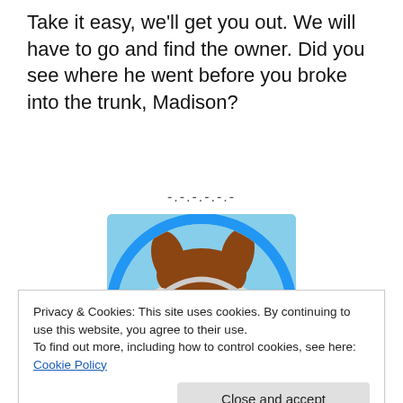Take it easy, we'll get you out. We will have to go and find the owner. Did you see where he went before you broke into the trunk, Madison?
-.-.-.-.-.-
[Figure (illustration): Cartoon game character: a young girl with pigtails, white headphones, and a red outfit, shown inside a circular magnifying glass frame with a blue rim, against a green outdoor background.]
Nooo! You can't talk to him, because he's a horsenapper! I
Privacy & Cookies: This site uses cookies. By continuing to use this website, you agree to their use.
To find out more, including how to control cookies, see here: Cookie Policy
He must not find out that we're onto them and Nightdust's